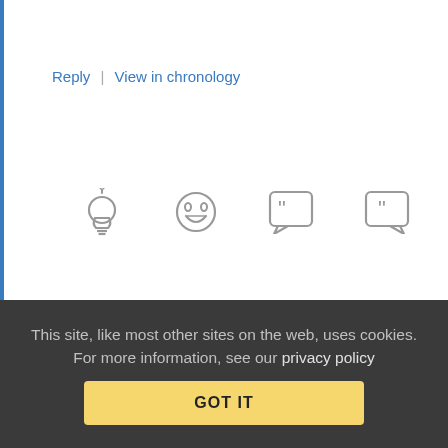Reply | View in chronology
[Figure (illustration): Row of 5 comment/reaction icons: lightbulb, laughing face, open quote bubble, closed quote bubble, flag]
[Figure (illustration): Avatar image of Dave Nelson — cartoon character with hat and glasses]
Dave Nelson (profile) January 3, 2013 at 8:51 am
Follow the Money!
Who benefits from these “errors” not being fixed? The patent trolls, and any corporation that has managed to get a flakey patent through the PTO. Money talks, good intentions walk. ‘Nuff said.
This site, like most other sites on the web, uses cookies. For more information, see our privacy policy
GOT IT